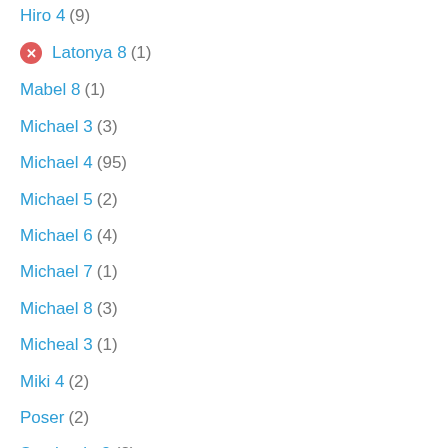Hiro 4 (9)
Latonya 8 (1)
Mabel 8 (1)
Michael 3 (3)
Michael 4 (95)
Michael 5 (2)
Michael 6 (4)
Michael 7 (1)
Michael 8 (3)
Micheal 3 (1)
Miki 4 (2)
Poser (2)
Stephanie 3 (2)
Stephanie 4 (12)
The Freak 4 (?)